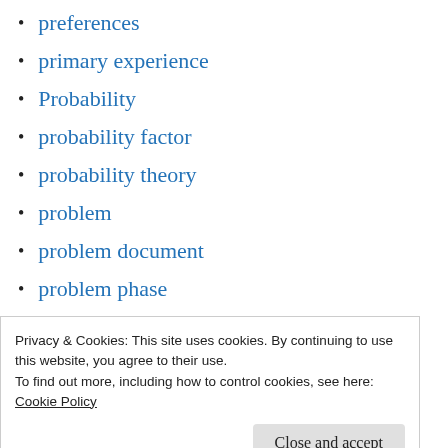preferences
primary experience
Probability
probability factor
probability theory
problem
problem document
problem phase
problem solving
problem statement
process
Privacy & Cookies: This site uses cookies. By continuing to use this website, you agree to their use.
To find out more, including how to control cookies, see here:
Cookie Policy
properties